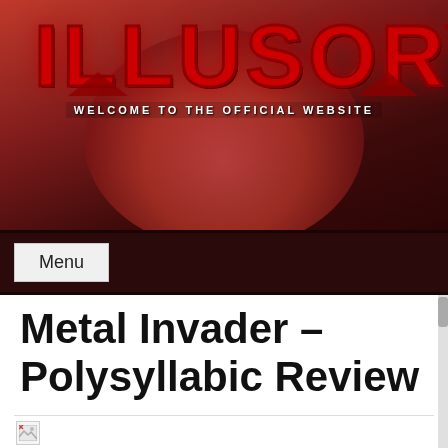[Figure (logo): ILLUSORY band/website logo in red metallic style text with 'WELCOME TO THE OFFICIAL WEBSITE' subtitle, on a dark red atmospheric background]
Menu
Metal Invader – Polysyllabic Review
[Figure (photo): Broken/missing image placeholder at the bottom of the content area]